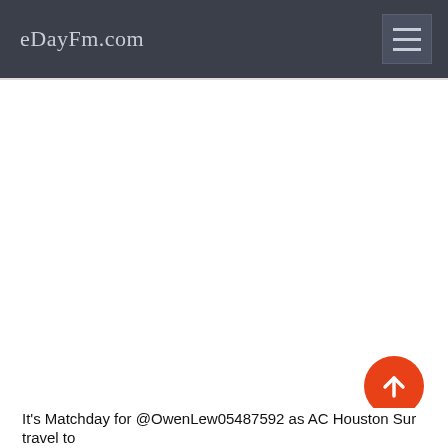eDayFm.com
[Figure (screenshot): Large white blank content area below the navigation header]
It's Matchday for @OwenLew05487592 as AC Houston Sur travel to